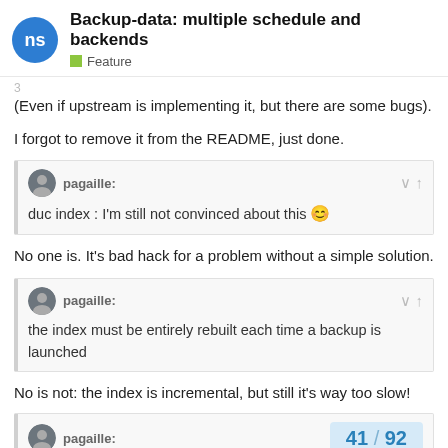Backup-data: multiple schedule and backends — Feature
(Even if upstream is implementing it, but there are some bugs).
I forgot to remove it from the README, just done.
pagaille: duc index : I'm still not convinced about this 😊
No one is. It's bad hack for a problem without a simple solution.
pagaille: the index must be entirely rebuilt each time a backup is launched
No is not: the index is incremental, but still it's way too slow!
pagaille:
41 / 92